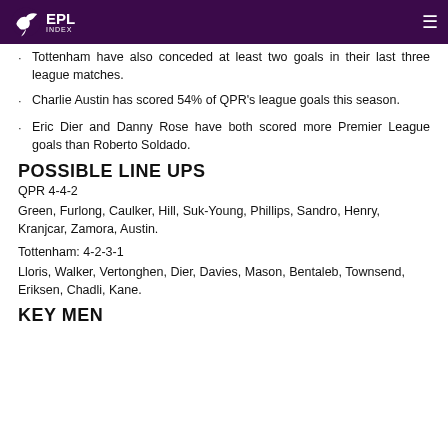EPL Index
Tottenham have also conceded at least two goals in their last three league matches.
Charlie Austin has scored 54% of QPR's league goals this season.
Eric Dier and Danny Rose have both scored more Premier League goals than Roberto Soldado.
POSSIBLE LINE UPS
QPR 4-4-2
Green, Furlong, Caulker, Hill, Suk-Young, Phillips, Sandro, Henry, Kranjcar, Zamora, Austin.
Tottenham: 4-2-3-1
Lloris, Walker, Vertonghen, Dier, Davies, Mason, Bentaleb, Townsend, Eriksen, Chadli, Kane.
KEY MEN